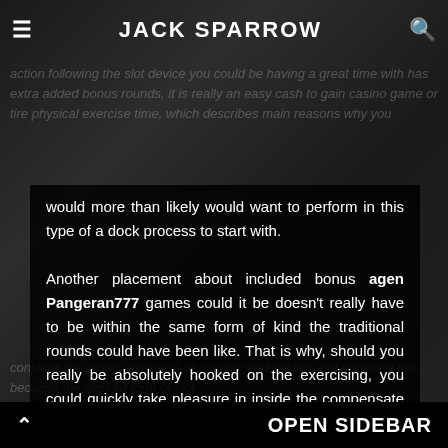≡   JACK SPARROW   🔍
action following the slot device you could be having a great time with has extra added bonus rounds, it is really an easy cash to gain casino game or tire physical exercise time, which describes main reasons why you would more than likely would want to perform in this type of a dock process to start with.
Another placement about included bonus agen Pangeran777 games could it be doesn't really have to be within the same form of kind the traditional rounds could have been like. That is why, should you really be absolutely hooked on the exercising, you could quickly take pleasure in inside the compensate rounds in the new and various environment, rendering it in fact fascinating to carry out and take part in. This really is an element that could basically allow you to make this video game a lot more exciting and may even end up getting the purpose that points out why should you consider the skilled prospects of moving seeking this and choosing this because the desired form of slot
^   OPEN SIDEBAR